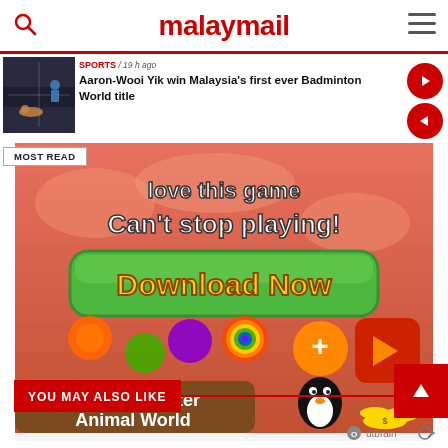malaymail
SPORTS / 19 h ago
Aaron-Wooi Yik win Malaysia's first ever Badminton World title
[Figure (photo): Badminton match thumbnail showing player on court]
[Figure (illustration): Bubble Shooter Animal World game advertisement — 'love this game Can't stop playing! Download Now']
MOST READ
YOU MAY ALSO LIKE
[Figure (logo): Outbrain logo]